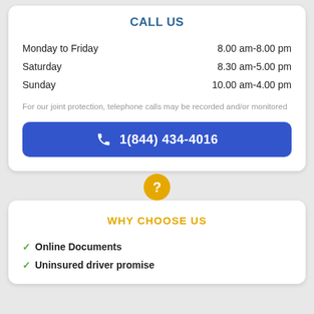CALL US
Monday to Friday    8.00 am-8.00 pm
Saturday    8.30 am-5.00 pm
Sunday    10.00 am-4.00 pm
For our joint protection, telephone calls may be recorded and/or monitored
1(844) 434-4016
WHY CHOOSE US
Online Documents
Uninsured driver promise